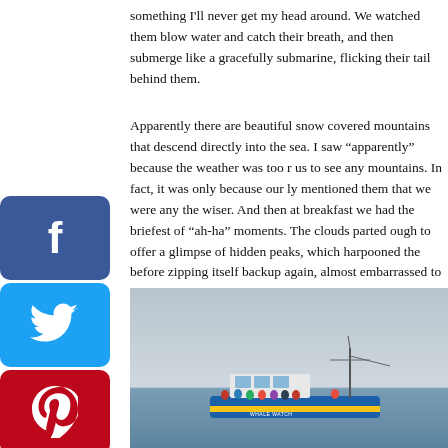something I'll never get my head around. We watched them blow water and catch their breath, and then submerge like a gracefully submarine, flicking their tail behind them.
Apparently there are beautiful snow covered mountains that descend directly into the sea. I saw “apparently” because the weather was too r us to see any mountains. In fact, it was only because our ly mentioned them that we were any the wiser. And then at breakfast we had the briefest of “ah-ha” moments. The clouds parted ough to offer a glimpse of hidden peaks, which harpooned the before zipping itself backup again, almost embarrassed to be with its trousers down. The cloud cover was so thick and even it possible to know anything was hidden behind the fleecy coat.
[Figure (photo): A whale watching boat on calm grey sea water with overcast sky. The boat is blue and yellow with passengers on deck.]